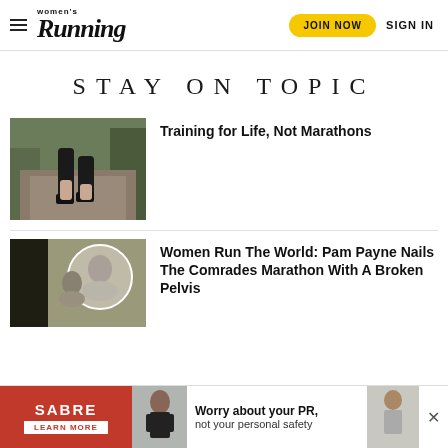Women's Running — JOIN NOW  SIGN IN
STAY ON TOPIC
[Figure (photo): Runner's legs on a path, view from behind, wearing black shorts]
Training for Life, Not Marathons
[Figure (photo): Women runners, vintage/retro style image]
Women Run The World: Pam Payne Nails The Comrades Marathon With A Broken Pelvis
[Figure (infographic): SABRE ad banner: Worry about your PR, not your personal safety. LEARN MORE button.]